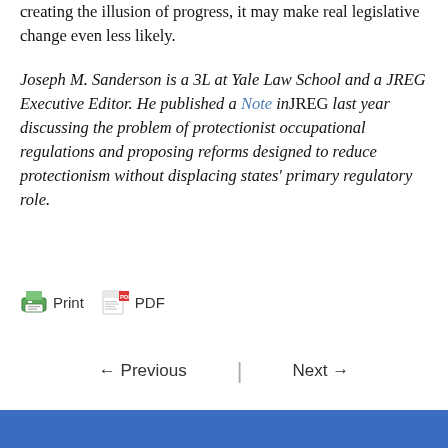creating the illusion of progress, it may make real legislative change even less likely.
Joseph M. Sanderson is a 3L at Yale Law School and a JREG Executive Editor. He published a Note in JREG last year discussing the problem of protectionist occupational regulations and proposing reforms designed to reduce protectionism without displacing states' primary regulatory role.
[Figure (infographic): Print and PDF buttons for printing or downloading the article]
← Previous | Next →